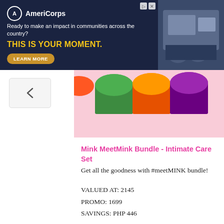[Figure (screenshot): AmeriCorps advertisement banner with dark navy background. Logo with circle A icon, tagline 'Ready to make an impact in communities across the country?', headline 'THIS IS YOUR MOMENT.' in yellow, and a 'LEARN MORE' button. Photo of students at computers on the right side.]
[Figure (photo): Pink product image area showing tops of colorful product jars on a pink background, partially visible.]
Mink MeetMink Bundle - Intimate Care Set
Get all the goodness with #meetMINK bundle!
VALUED AT: 2145
PROMO: 1699
SAVINGS: PHP 446
What you'll get:
Bring Knee to Life (Knee & Elbow Serum)
Calling your name to save you from